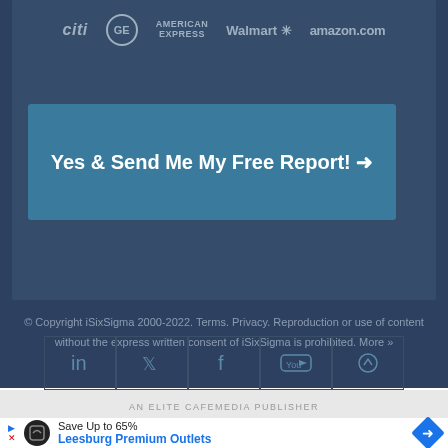[Figure (logo): Company logos: Citi, GE, American Express, Walmart, amazon.com]
Yes & Send Me My Free Report! →
© Copyright iSixSigma 2000-2022. Terms. Privacy. Reproduction or use of content without the express written consent of iSixSigma is prohibited. More »
[Figure (infographic): Social media icons: LinkedIn, Twitter, Facebook, YouTube, scroll-up]
AN ELITE CAFEMEDIA PUBLISHER
[Figure (infographic): Advertisement: Save Up to 65% Leesburg Premium Outlets]